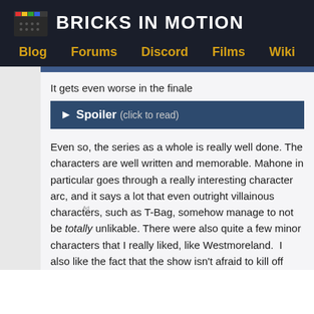BRICKS IN MOTION
Blog | Forums | Discord | Films | Wiki
It gets even worse in the finale
▶ Spoiler (click to read)
Even so, the series as a whole is really well done. The characters are well written and memorable. Mahone in particular goes through a really interesting character arc, and it says a lot that even outright villainous characters, such as T-Bag, somehow manage to not be totally unlikable. There were also quite a few minor characters that I really liked, like Westmoreland.  I also like the fact that the show isn't afraid to kill off characters when necessary (perhaps it's even a bit too eager to do so at times).